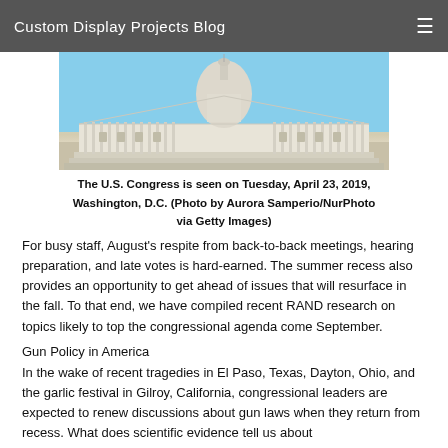Custom Display Projects Blog
[Figure (photo): Photograph of the U.S. Capitol building seen from the front, with columns and dome visible against a blue sky.]
The U.S. Congress is seen on Tuesday, April 23, 2019, Washington, D.C. (Photo by Aurora Samperio/NurPhoto via Getty Images)
For busy staff, August's respite from back-to-back meetings, hearing preparation, and late votes is hard-earned. The summer recess also provides an opportunity to get ahead of issues that will resurface in the fall. To that end, we have compiled recent RAND research on topics likely to top the congressional agenda come September.
Gun Policy in America
In the wake of recent tragedies in El Paso, Texas, Dayton, Ohio, and the garlic festival in Gilroy, California, congressional leaders are expected to renew discussions about gun laws when they return from recess. What does scientific evidence tell us about the effects of gun laws, including background checks? St...